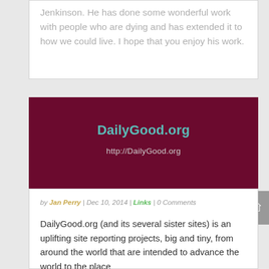Jenkinson. He has done some wonderful work with people who are dying and has extended it to how we could live. I hope that you enjoy his work.
[Figure (other): DailyGood.org dark maroon banner with teal title text 'DailyGood.org' and URL 'http://DailyGood.org' in light gray below]
by Jan Perry | Dec 10, 2014 | Links | 0 Comments
DailyGood.org (and its several sister sites) is an uplifting site reporting projects, big and tiny, from around the world that are intended to advance the world to the place